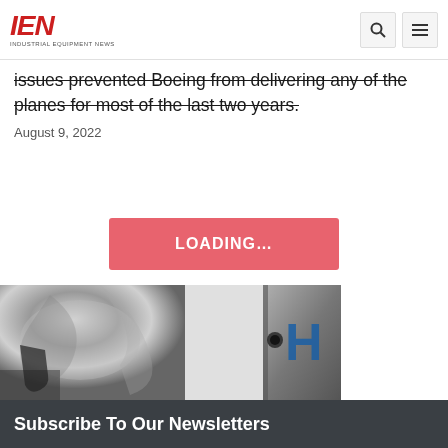IEN INDUSTRIAL EQUIPMENT NEWS
issues prevented Boeing from delivering any of the planes for most of the last two years.
August 9, 2022
LOADING…
[Figure (photo): Close-up of shiny metallic aircraft surface, partially visible on left side]
[Figure (photo): Close-up of metallic surface with letter H visible, Boeing-related imagery on right side]
[Figure (logo): DESIGN NEWS logo (faded)]
[Figure (logo): FOOD Manufacturing logo (faded)]
[Figure (logo): IEN Industrial Equipment News logo (red)]
[Figure (logo): Manufacturing Business Technology logo (faded red)]
Subscribe To Our Newsletters